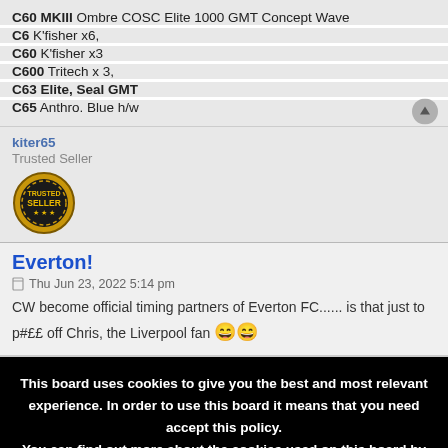C60 MKIII Ombre COSC Elite 1000 GMT Concept Wave
C6 K'fisher x6,
C60 K'fisher x3
C600 Tritech x 3,
C63 Elite, Seal GMT
C65 Anthro. Blue h/w
kiter65
Trusted Seller
[Figure (illustration): Trusted Seller badge — circular gold and black emblem with text TRUSTED SELLER]
Everton!
Thu Jun 23, 2022 5:14 pm
CW become official timing partners of Everton FC...... is that just to p#££ off Chris, the Liverpool fan 😄😄
This board uses cookies to give you the best and most relevant experience. In order to use this board it means that you need accept this policy.
You can find out more about the cookies used on this board by clicking the "Policies" link at the bottom of the page.
☐ Accept Cookies